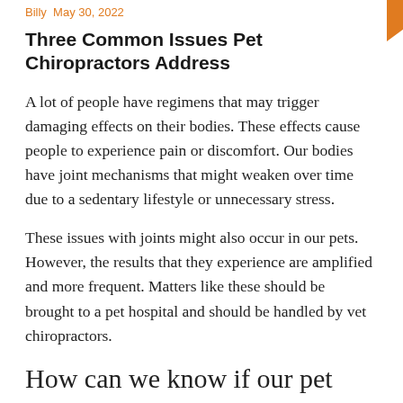Billy  May 30, 2022
Three Common Issues Pet Chiropractors Address
A lot of people have regimens that may trigger damaging effects on their bodies. These effects cause people to experience pain or discomfort. Our bodies have joint mechanisms that might weaken over time due to a sedentary lifestyle or unnecessary stress.
These issues with joints might also occur in our pets. However, the results that they experience are amplified and more frequent. Matters like these should be brought to a pet hospital and should be handled by vet chiropractors.
How can we know if our pet